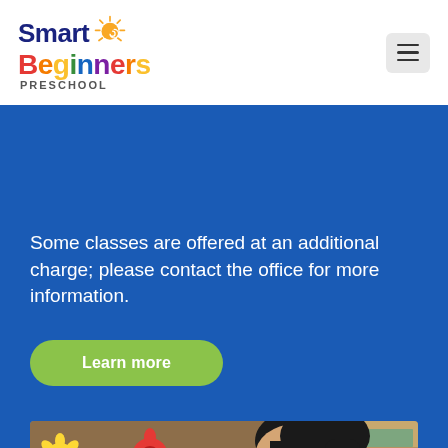[Figure (logo): Smart Beginners Preschool logo with colorful text and sun graphic]
Some classes are offered at an additional charge; please contact the office for more information.
Learn more
[Figure (photo): A young girl with dark hair leaning over a desk writing or drawing in a classroom decorated with flower cutouts on a brown bulletin board, blue chair visible, shelves with materials in background]